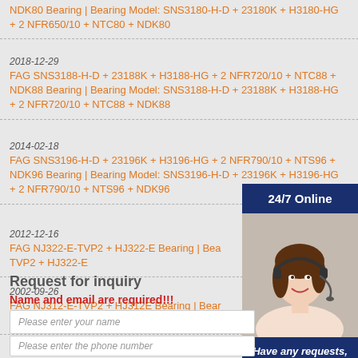NDK80 Bearing | Bearing Model: SNS3180-H-D + 23180K + H3180-HG + 2 NFR650/10 + NTC80 + NDK80
2018-12-29
FAG SNS3188-H-D + 23188K + H3188-HG + 2 NFR720/10 + NTC88 + NDK88 Bearing | Bearing Model: SNS3188-H-D + 23188K + H3188-HG + 2 NFR720/10 + NTC88 + NDK88
2014-02-18
FAG SNS3196-H-D + 23196K + H3196-HG + 2 NFR790/10 + NTS96 + NDK96 Bearing | Bearing Model: SNS3196-H-D + 23196K + H3196-HG + 2 NFR790/10 + NTS96 + NDK96
2012-12-16
FAG NJ322-E-TVP2 + HJ322-E Bearing | Bearing Model: NJ322-E-TVP2 + HJ322-E
2002-09-26
FAG NJ312-E-TVP2 + HJ312E Bearing | Bearing Model: NJ312-E-TVP2 + HJ312E
[Figure (photo): Customer service representative (woman with headset) with '24/7 Online', 'Have any requests, click here.' and 'Quotation' button overlay panel]
Request for inquiry
Name and email are required!!!
Please enter your name
Please enter the phone number